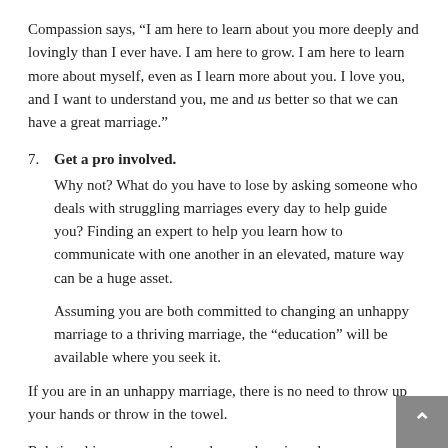Compassion says, “I am here to learn about you more deeply and lovingly than I ever have. I am here to grow. I am here to learn more about myself, even as I learn more about you. I love you, and I want to understand you, me and us better so that we can have a great marriage.”
7. Get a pro involved. Why not? What do you have to lose by asking someone who deals with struggling marriages every day to help guide you? Finding an expert to help you learn how to communicate with one another in an elevated, mature way can be a huge asset.

Assuming you are both committed to changing an unhappy marriage to a thriving marriage, the “education” will be available where you seek it.
If you are in an unhappy marriage, there is no need to throw up your hands or throw in the towel.
Relationships are organic — always changing, always presenting new opportunities for growth. That’s what makes them exciting…and the optimal place in which to struggle out of the cocoon that keeps you